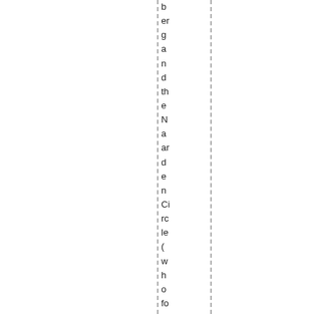b
er
g
a
n
d
th
e
N
a
ar
d
e
n
Ci
rc
le
(
w
h
o
fo
u
n
d
e
d
th
e
D